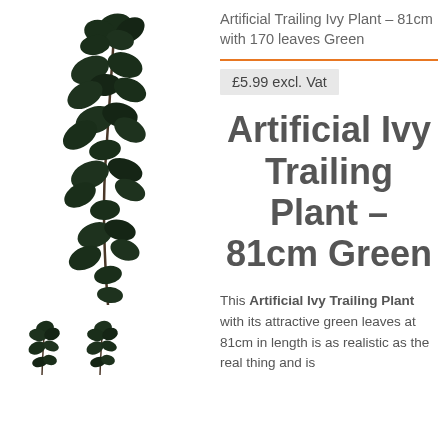[Figure (photo): Large artificial trailing ivy plant with dark green leaves cascading downward, shown on white background]
[Figure (photo): Two small thumbnail images of the same artificial ivy trailing plant from different angles]
Artificial Trailing Ivy Plant – 81cm with 170 leaves Green
£5.99 excl. Vat
Artificial Ivy Trailing Plant – 81cm Green
This Artificial Ivy Trailing Plant with its attractive green leaves at 81cm in length is as realistic as the real thing and is